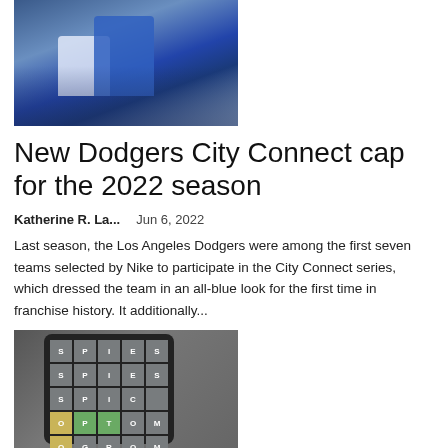[Figure (photo): Two baseball players on field, one in blue Dodgers uniform, one in white/gray Mets uniform, during a play]
New Dodgers City Connect cap for the 2022 season
Katherine R. La...    Jun 6, 2022
Last season, the Los Angeles Dodgers were among the first seven teams selected by Nike to participate in the City Connect series, which dressed the team in an all-blue look for the first time in franchise history. It additionally...
[Figure (photo): Hand holding a smartphone displaying a Wordle puzzle with colored letter tiles in green, yellow, and gray]